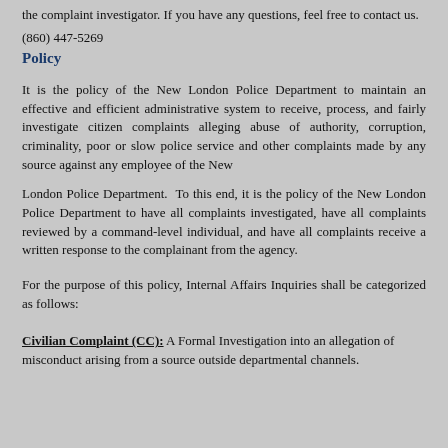the complaint investigator. If you have any questions, feel free to contact us.
(860) 447-5269
Policy
It is the policy of the New London Police Department to maintain an effective and efficient administrative system to receive, process, and fairly investigate citizen complaints alleging abuse of authority, corruption, criminality, poor or slow police service and other complaints made by any source against any employee of the New
London Police Department.  To this end, it is the policy of the New London Police Department to have all complaints investigated, have all complaints reviewed by a command-level individual, and have all complaints receive a written response to the complainant from the agency.
For the purpose of this policy, Internal Affairs Inquiries shall be categorized as follows:
Civilian Complaint (CC): A Formal Investigation into an allegation of misconduct arising from a source outside departmental channels.